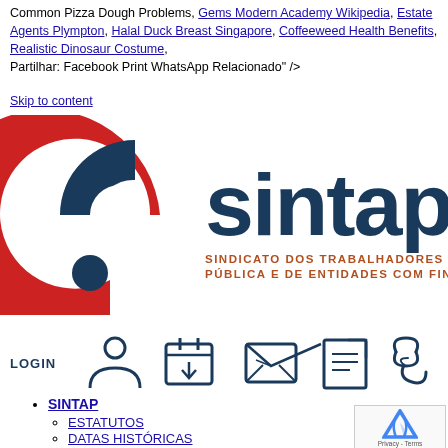Common Pizza Dough Problems, Gems Modern Academy Wikipedia, Estate Agents Plympton, Halal Duck Breast Singapore, Coffeeweed Health Benefits, Realistic Dinosaur Costume, Partilhar: Facebook Print WhatsApp Relacionado" />
Skip to content
[Figure (logo): SINTAP logo - red and dark blue circular emblem with text 'sintap' and subtitle 'SINDICATO DOS TRABALHADORES DA ADMINISTRAÇÃO PÚBLICA E DE ENTIDADES COM FINS PÚBLICOS']
[Figure (infographic): Navigation icons row: LOGIN (person icon), calendar icon, envelope/mail icon, document icon, link/chain icon]
SINTAP
ESTATUTOS
DATAS HISTÓRICAS
ORGÃOS
COMISSÃO EXECUTIVA